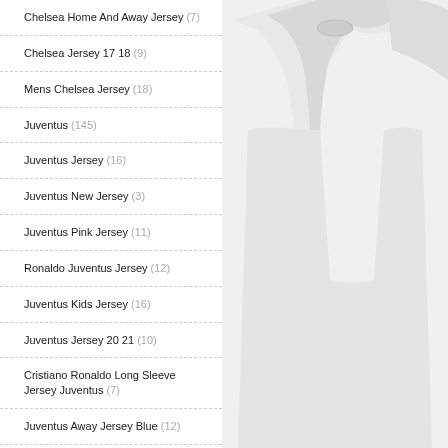Chelsea Home And Away Jersey (7)
Chelsea Jersey 17 18 (9)
Mens Chelsea Jersey (18)
Juventus (145)
Juventus Jersey (16)
Juventus New Jersey (3)
Juventus Pink Jersey (11)
Ronaldo Juventus Jersey (12)
Juventus Kids Jersey (16)
Juventus Jersey 20 21 (10)
Cristiano Ronaldo Long Sleeve Jersey Juventus (7)
Juventus Away Jersey Blue (12)
Juventus Goalkeeper Jersey 2019 (13)
Juventus Jersey Cheap Online (9)
[Figure (photo): White/grey soccer jersey on a light grey background, partially visible on the right side of the page]